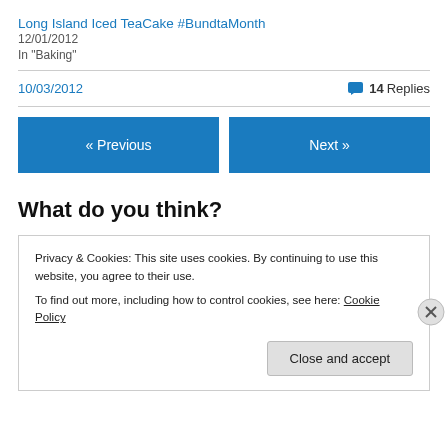Long Island Iced TeaCake #BundtaMonth
12/01/2012
In "Baking"
10/03/2012
14 Replies
« Previous
Next »
What do you think?
Privacy & Cookies: This site uses cookies. By continuing to use this website, you agree to their use.
To find out more, including how to control cookies, see here: Cookie Policy
Close and accept